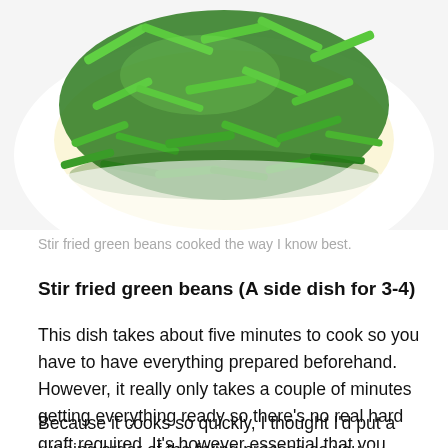[Figure (photo): Close-up photo of stir fried green beans on a white plate, viewed from above. The beans are bright green, cut into short pieces, piled in the center of the plate.]
Stir fried green beans cooked the way I know best.
Stir fried green beans (A side dish for 3-4)
This dish takes about five minutes to cook so you have to have everything prepared beforehand. However, it really only takes a couple of minutes getting everything ready so there's no real hard graft required. It's however essential that you have a saucepan or wok that has a lid because you're going to need it!
Because it cooks so quickly, I thought I'd put a running order of the frying process so you understand how fast